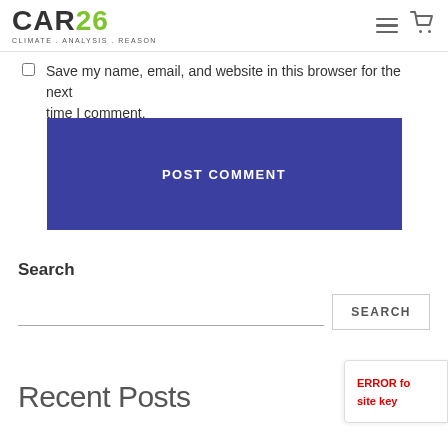CAR26 CLIMATE . ANALYSIS . REASON
Save my name, email, and website in this browser for the next time I comment.
POST COMMENT
Search
SEARCH
Recent Posts
ERROR for site key